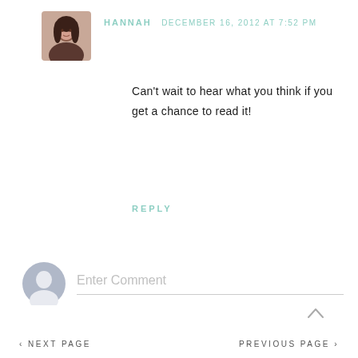[Figure (photo): Small square avatar photo of Hannah, a woman with dark hair]
HANNAH   DECEMBER 16, 2012 AT 7:52 PM
Can't wait to hear what you think if you get a chance to read it!
REPLY
[Figure (illustration): Default user avatar silhouette icon in grey circle]
Enter Comment
‹ NEXT PAGE   PREVIOUS PAGE ›